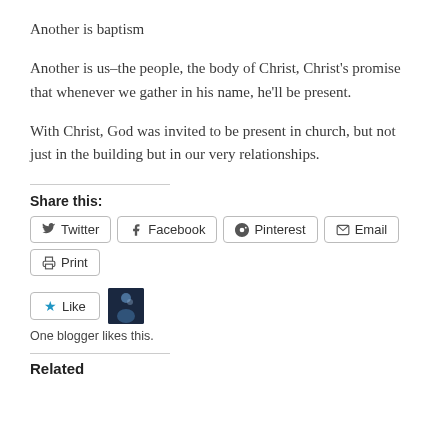Another is baptism
Another is us–the people, the body of Christ, Christ's promise that whenever we gather in his name, he'll be present.
With Christ, God was invited to be present in church, but not just in the building but in our very relationships.
Share this:
Twitter
Facebook
Pinterest
Email
Print
One blogger likes this.
Related